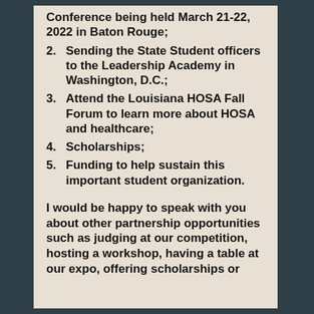Conference being held March 21-22, 2022 in Baton Rouge;
2. Sending the State Student officers to the Leadership Academy in Washington, D.C.;
3. Attend the Louisiana HOSA Fall Forum to learn more about HOSA and healthcare;
4. Scholarships;
5. Funding to help sustain this important student organization.
I would be happy to speak with you about other partnership opportunities such as judging at our competition, hosting a workshop, having a table at our expo, offering scholarships or